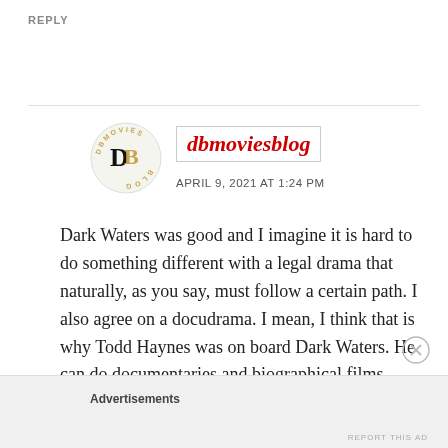REPLY
[Figure (logo): DBMoviesBlog circular logo with gold text 'DBMOVIES BLOG' around the edge and stylized 'DB' letters in black and gold in the center on a light background]
dbmoviesblog
APRIL 9, 2021 AT 1:24 PM
Dark Waters was good and I imagine it is hard to do something different with a legal drama that naturally, as you say, must follow a certain path. I also agree on a docudrama. I mean, I think that is why Todd Haynes was on board Dark Waters. He can do documentaries and biographical films very well.
Advertisements